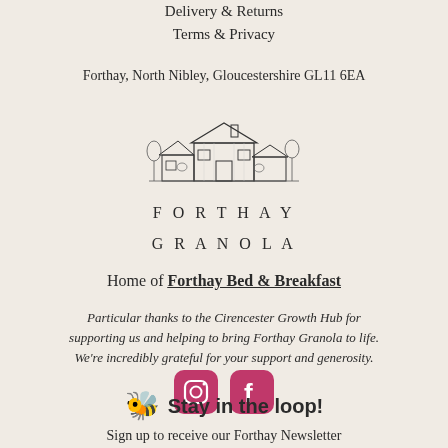Delivery & Returns
Terms & Privacy
Forthay, North Nibley, Gloucestershire GL11 6EA
[Figure (illustration): Pen-and-ink drawing of a farm building with trees and outbuildings, above the brand name FORTHAY GRANOLA in spaced capital letters]
Home of Forthay Bed & Breakfast
Particular thanks to the Cirencester Growth Hub for supporting us and helping to bring Forthay Granola to life. We're incredibly grateful for your support and generosity.
[Figure (logo): Instagram and Facebook pink/magenta rounded square icons side by side]
🐝 Stay in the loop!
Sign up to receive our Forthay Newsletter